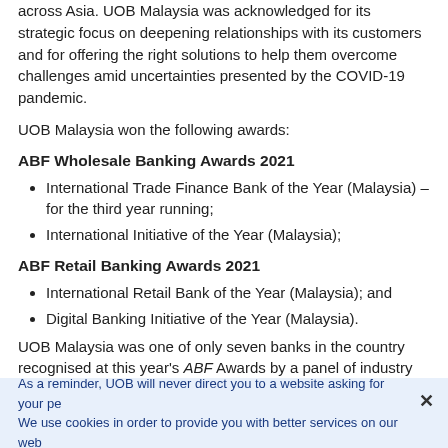across Asia. UOB Malaysia was acknowledged for its strategic focus on deepening relationships with its customers and for offering the right solutions to help them overcome challenges amid uncertainties presented by the COVID-19 pandemic.
UOB Malaysia won the following awards:
ABF Wholesale Banking Awards 2021
International Trade Finance Bank of the Year (Malaysia) – for the third year running;
International Initiative of the Year (Malaysia);
ABF Retail Banking Awards 2021
International Retail Bank of the Year (Malaysia); and
Digital Banking Initiative of the Year (Malaysia).
UOB Malaysia was one of only seven banks in the country recognised at this year's ABF Awards by a panel of industry experts. Each winning bank stood out for various capabilities including corporate resilience, innovation and ability to meet
As a reminder, UOB will never direct you to a website asking for your pe... We use cookies in order to provide you with better services on our web...